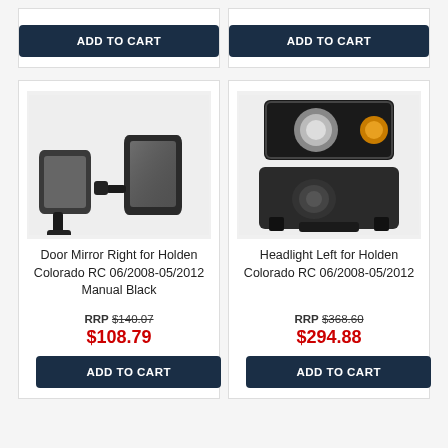[Figure (other): ADD TO CART button (partial top card, left)]
[Figure (other): ADD TO CART button (partial top card, right)]
[Figure (photo): Door mirror product image — two black manual door mirrors for Holden Colorado RC]
Door Mirror Right for Holden Colorado RC 06/2008-05/2012 Manual Black
RRP $140.07
$108.79
[Figure (other): ADD TO CART button for Door Mirror product]
[Figure (photo): Headlight product image — two views of headlight assembly for Holden Colorado RC]
Headlight Left for Holden Colorado RC 06/2008-05/2012
RRP $368.60
$294.88
[Figure (other): ADD TO CART button for Headlight product]